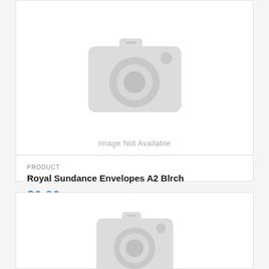[Figure (other): Camera icon placeholder indicating image not available]
Image Not Available
PRODUCT
Royal Sundance Envelopes A2 Blrch
$0.20
[Figure (other): Camera icon placeholder indicating image not available for second product]